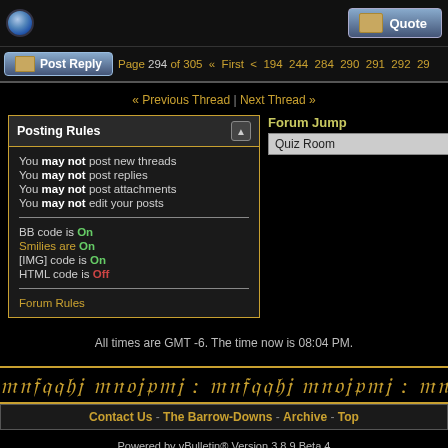Quote
Post Reply | Page 294 of 305 « First < 194 244 284 290 291 292 29...
« Previous Thread | Next Thread »
Posting Rules
You may not post new threads
You may not post replies
You may not post attachments
You may not edit your posts
BB code is On
Smilies are On
[IMG] code is On
HTML code is Off
Forum Rules
Forum Jump
Quiz Room
All times are GMT -6. The time now is 08:04 PM.
[Figure (other): Tolkien-style decorative banner with styled text]
Contact Us - The Barrow-Downs - Archive - Top
Powered by vBulletin® Version 3.8.9 Beta 4
Copyright ©2000 - 2022, vBulletin Solutions, Inc.